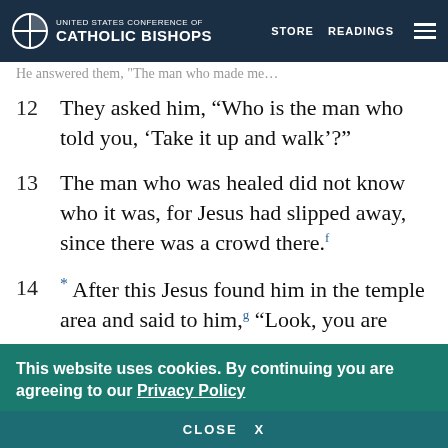UNITED STATES CONFERENCE OF CATHOLIC BISHOPS | STORE | READINGS
He answered them, "The man who made me..."
12   They asked him, “Who is the man who told you, ‘Take it up and walk’?”
13   The man who was healed did not know who it was, for Jesus had slipped away, since there was a crowd there.[f]
14   * After this Jesus found him in the temple area and said to him,[g] “Look, you are well; do not sin any more, so that nothing worse may happen to you.”
This website uses cookies. By continuing you are agreeing to our Privacy Policy
CLOSE  X